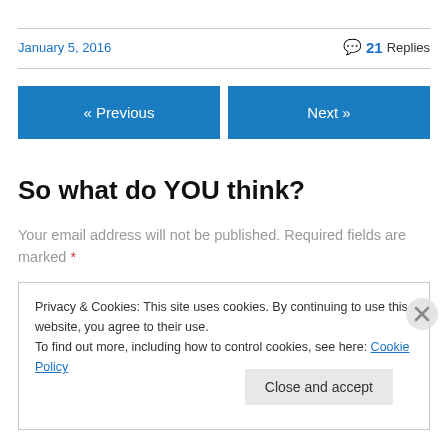January 5, 2016
21 Replies
« Previous
Next »
So what do YOU think?
Your email address will not be published. Required fields are marked *
Privacy & Cookies: This site uses cookies. By continuing to use this website, you agree to their use. To find out more, including how to control cookies, see here: Cookie Policy
Close and accept